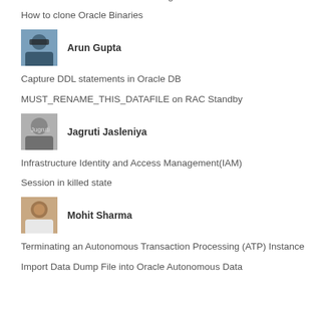How To Resize the Online Redo Logfiles
How to clone Oracle Binaries
[Figure (photo): Profile photo of Arun Gupta — person wearing sunglasses outdoors]
Arun Gupta
Capture DDL statements in Oracle DB
MUST_RENAME_THIS_DATAFILE on RAC Standby
[Figure (photo): Profile photo of Jagruti Jasleniya — black and white portrait]
Jagruti Jasleniya
Infrastructure Identity and Access Management(IAM)
Session in killed state
[Figure (photo): Profile photo of Mohit Sharma — man smiling]
Mohit Sharma
Terminating an Autonomous Transaction Processing (ATP) Instance
Import Data Dump File into Oracle Autonomous Data